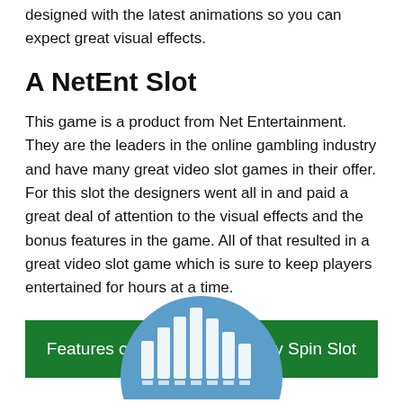designed with the latest animations so you can expect great visual effects.
A NetEnt Slot
This game is a product from Net Entertainment. They are the leaders in the online gambling industry and have many great video slot games in their offer. For this slot the designers went all in and paid a great deal of attention to the visual effects and the bonus features in the game. All of that resulted in a great video slot game which is sure to keep players entertained for hours at a time.
Features of Finn and the Swirly Spin Slot
[Figure (illustration): A blue circular icon featuring a white bar chart/slot reels graphic]